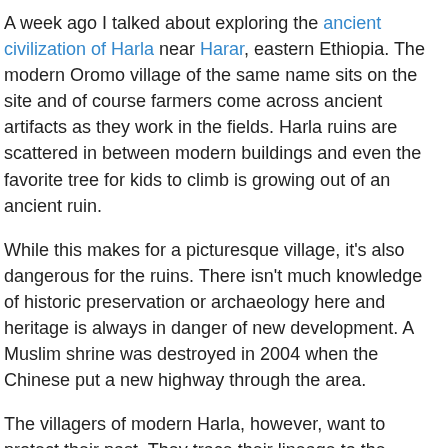A week ago I talked about exploring the ancient civilization of Harla near Harar, eastern Ethiopia. The modern Oromo village of the same name sits on the site and of course farmers come across ancient artifacts as they work in the fields. Harla ruins are scattered in between modern buildings and even the favorite tree for kids to climb is growing out of an ancient ruin.
While this makes for a picturesque village, it's also dangerous for the ruins. There isn't much knowledge of historic preservation or archaeology here and heritage is always in danger of new development. A Muslim shrine was destroyed in 2004 when the Chinese put a new highway through the area.
The villagers of modern Harla, however, want to protect their past. They trace their lineage to the ancient Harla people and they want to honor their ancestors by preserving their remains. A few days ago Sheikh Omar of Harla visited Harar to talk with historian and Harar tour guide Mohammed Jami Guleid (harartourguide@gmail.com) and discuss how best to protect